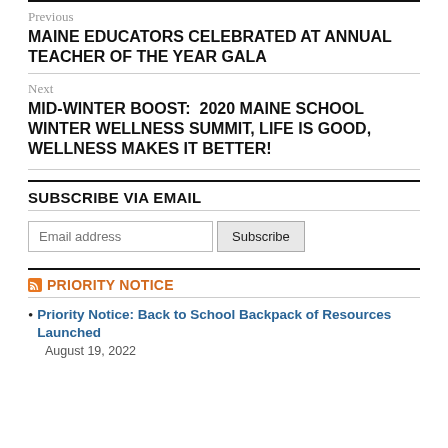Previous
MAINE EDUCATORS CELEBRATED AT ANNUAL TEACHER OF THE YEAR GALA
Next
MID-WINTER BOOST:  2020 MAINE SCHOOL WINTER WELLNESS SUMMIT, LIFE IS GOOD, WELLNESS MAKES IT BETTER!
SUBSCRIBE VIA EMAIL
PRIORITY NOTICE
Priority Notice: Back to School Backpack of Resources Launched
August 19, 2022